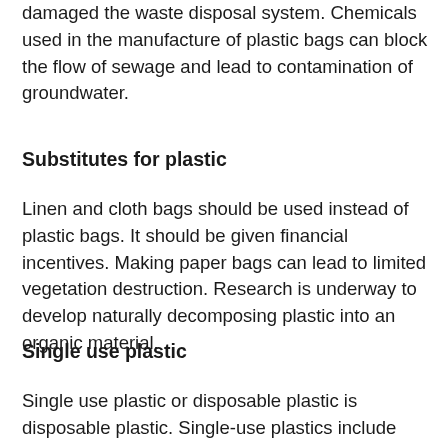damaged the waste disposal system. Chemicals used in the manufacture of plastic bags can block the flow of sewage and lead to contamination of groundwater.
Substitutes for plastic
Linen and cloth bags should be used instead of plastic bags. It should be given financial incentives. Making paper bags can lead to limited vegetation destruction. Research is underway to develop naturally decomposing plastic into an organic material.
Single use plastic
Single use plastic or disposable plastic is disposable plastic. Single-use plastics include plastics or some disposable items that are